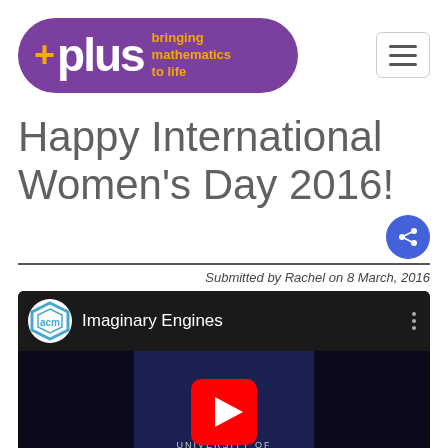[Figure (logo): Plus magazine logo — purple pill shape with 'plus' text and tagline 'bringing mathematics to life' in orange, with a hamburger menu button to the right]
Happy International Women's Day 2016!
Submitted by Rachel on 8 March, 2016
[Figure (screenshot): YouTube video embed showing 'Imaginary Engines' video with ACM logo, University of Oxford branding, and YouTube play button overlay]